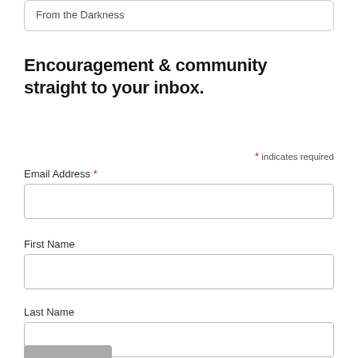From the Darkness
Encouragement & community straight to your inbox.
* indicates required
Email Address *
First Name
Last Name